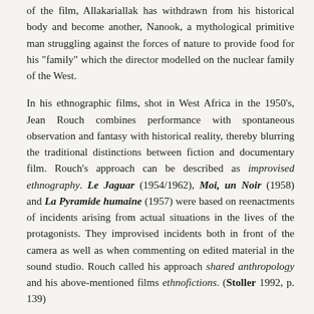of the film, Allakariallak has withdrawn from his historical body and become another, Nanook, a mythological primitive man struggling against the forces of nature to provide food for his "family" which the director modelled on the nuclear family of the West.
In his ethnographic films, shot in West Africa in the 1950's, Jean Rouch combines performance with spontaneous observation and fantasy with historical reality, thereby blurring the traditional distinctions between fiction and documentary film. Rouch's approach can be described as improvised ethnography. Le Jaguar (1954/1962), Moi, un Noir (1958) and La Pyramide humaine (1957) were based on reenactments of incidents arising from actual situations in the lives of the protagonists. They improvised incidents both in front of the camera as well as when commenting on edited material in the sound studio. Rouch called his approach shared anthropology and his above-mentioned films ethnofictions. (Stoller 1992, p. 139)
The people being filmed were not simply the subjects of anthropological observation but active...